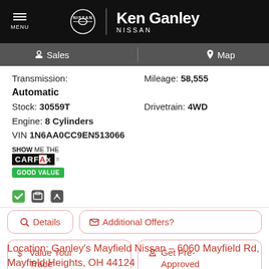MENU | NISSAN | Ken Ganley NISSAN
Sales | Map
Transmission: Automatic | Mileage: 58,555 | Stock: 30559T | Drivetrain: 4WD | Engine: 8 Cylinders | VIN 1N6AA0CC9EN513066
[Figure (logo): CARFAX Show Me The CARFAX badge with GOOD VALUE label]
Details | Additional Offers? | Value Your Trade | Get Pre-Approved
Location: Ganley's Mayfield Nissan - 6060 Mayfield Rd, Mayfield Heights, OH 44124